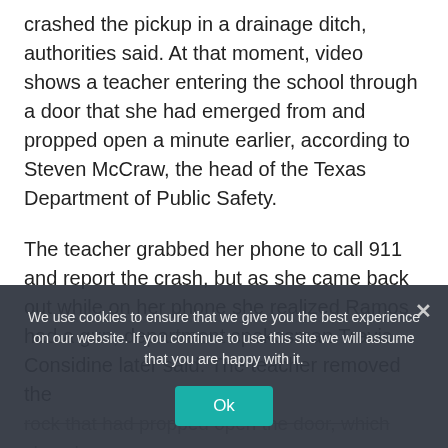crashed the pickup in a drainage ditch, authorities said. At that moment, video shows a teacher entering the school through a door that she had emerged from and propped open a minute earlier, according to Steven McCraw, the head of the Texas Department of Public Safety.
The teacher grabbed her phone to call 911 and report the crash, but as she came back out while on her phone she realized Ramos had a gun, department spokesman Travis Considine later said. The teacher removed the rock that had propped open the door, which closed.
We use cookies to ensure that we give you the best experience on our website. If you continue to use this site we will assume that you are happy with it.